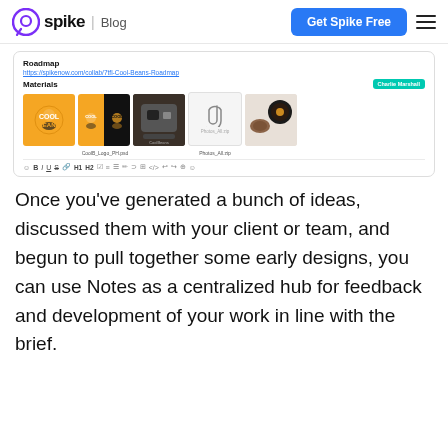spike | Blog — Get Spike Free
[Figure (screenshot): Screenshot of Spike Notes interface showing a Roadmap note with a link, Materials section with coffee brand images (logos, photos), and a text formatting toolbar.]
Once you've generated a bunch of ideas, discussed them with your client or team, and begun to pull together some early designs, you can use Notes as a centralized hub for feedback and development of your work in line with the brief.